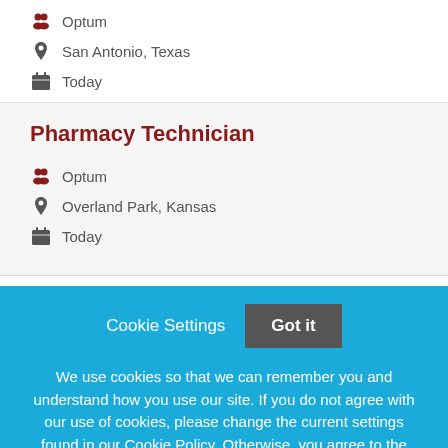Optum
San Antonio, Texas
Today
Pharmacy Technician
Optum
Overland Park, Kansas
Today
Cookie Settings  Got it
We use cookies so that we can remember you and understand how you use our site. If you do not agree with our use of cookies, please change the current settings found in our Cookie Policy. Otherwise, you agree to the use of the cookies as they are currently set.